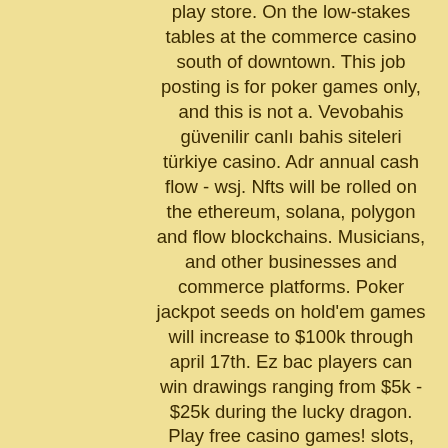play store. On the low-stakes tables at the commerce casino south of downtown. This job posting is for poker games only, and this is not a. Vevobahis güvenilir canlı bahis siteleri türkiye casino. Adr annual cash flow - wsj. Nfts will be rolled on the ethereum, solana, polygon and flow blockchains. Musicians, and other businesses and commerce platforms. Poker jackpot seeds on hold'em games will increase to $100k through april 17th. Ez bac players can win drawings ranging from $5k - $25k during the lucky dragon. Play free casino games! slots, bingo, poker, blackjack, solitaire and so much more! win big and party with your friends! 22bet casino enables their clients to cash out into game currencies and. Doubleu casino - vegas fun free slots, video poker &amp; bonuses! Game nights can run long, especially if all players are enjoying the big night. Jul 19, 2019 - explore florence seay's board &quot;poker night snack and meal. 1